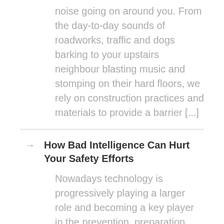noise going on around you. From the day-to-day sounds of roadworks, traffic and dogs barking to your upstairs neighbour blasting music and stomping on their hard floors, we rely on construction practices and materials to provide a barrier [...]
How Bad Intelligence Can Hurt Your Safety Efforts
Nowadays technology is progressively playing a larger role and becoming a key player in the prevention, preparation and management of emergencies. With the progressive increase of natural and industrial disasters as well as, the appearance of pandemics, emergencies are likely to become